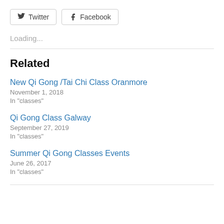[Figure (other): Twitter and Facebook social share buttons with icons]
Loading...
Related
New Qi Gong /Tai Chi Class Oranmore
November 1, 2018
In "classes"
Qi Gong Class Galway
September 27, 2019
In "classes"
Summer Qi Gong Classes Events
June 26, 2017
In "classes"